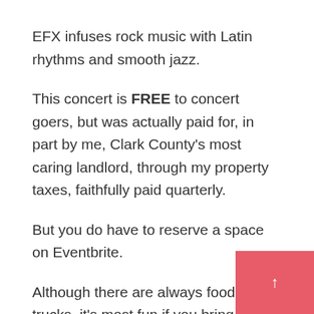EFX infuses rock music with Latin rhythms and smooth jazz.
This concert is FREE to concert goers, but was actually paid for, in part by me, Clark County's most caring landlord, through my property taxes, faithfully paid quarterly.
But you do have to reserve a space on Eventbrite.
Although there are always food trucks, it’s most fun if you bring your own al fresco meal The doors open at 5:30 for feasting.
The music starts at 7 and the EFX takes the